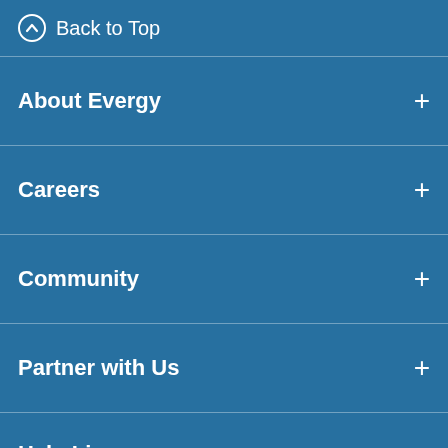Back to Top
About Evergy
Careers
Community
Partner with Us
Help Lines
CALL BEFORE YOU DIG